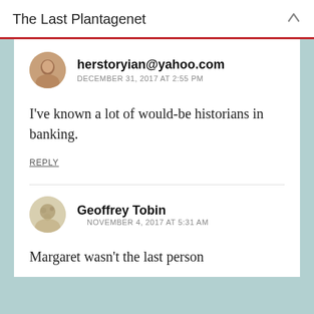The Last Plantagenet
herstoryian@yahoo.com
DECEMBER 31, 2017 AT 2:55 PM
I've known a lot of would-be historians in banking.
REPLY
Geoffrey Tobin
NOVEMBER 4, 2017 AT 5:31 AM
Margaret wasn't the last person